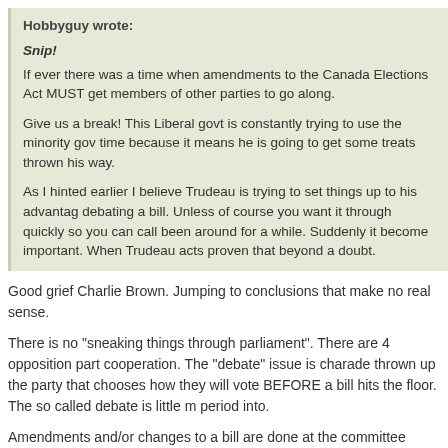Hobbyguy wrote:

Snip!
If ever there was a time when amendments to the Canada Elections Act MUST get members of other parties to go along.

Give us a break! This Liberal govt is constantly trying to use the minority govt time because it means he is going to get some treats thrown his way.

As I hinted earlier I believe Trudeau is trying to set things up to his advantage debating a bill. Unless of course you want it through quickly so you can call been around for a while. Suddenly it become important. When Trudeau acts proven that beyond a doubt.
Good grief Charlie Brown. Jumping to conclusions that make no real sense.
There is no "sneaking things through parliament". There are 4 opposition part cooperation. The "debate" issue is charade thrown up the party that chooses how they will vote BEFORE a bill hits the floor. The so called debate is little m period into.
Amendments and/or changes to a bill are done at the committee stage and in any "debate". The "debate" is simply a chance for parties/MPs to pontificate a representative from their party. Of course there will always be lone wolf disser